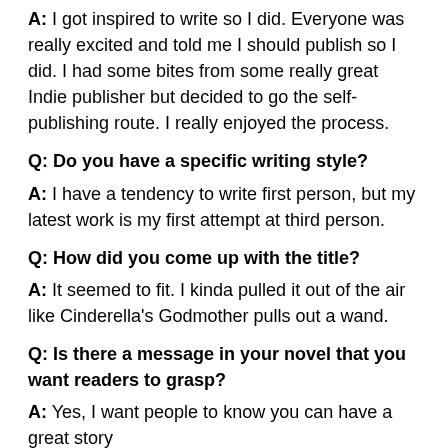A: I got inspired to write so I did. Everyone was really excited and told me I should publish so I did. I had some bites from some really great Indie publisher but decided to go the self-publishing route. I really enjoyed the process.
Q: Do you have a specific writing style?
A: I have a tendency to write first person, but my latest work is my first attempt at third person.
Q: How did you come up with the title?
A: It seemed to fit. I kinda pulled it out of the air like Cinderella's Godmother pulls out a wand.
Q: Is there a message in your novel that you want readers to grasp?
A: Yes, I want people to know you can have a great story